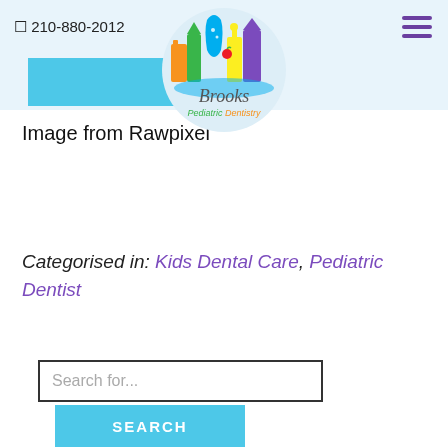📱 210-880-2012 | Brooks Pediatric Dentistry
[Figure (logo): Brooks Pediatric Dentistry logo with colorful cartoon cityscape buildings and a tooth shape on top, with the text 'Brooks Pediatric Dentistry' in stylized font]
Image from Rawpixel
Categorised in: Kids Dental Care, Pediatric Dentist